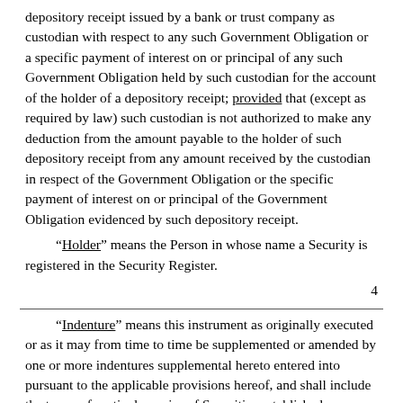depository receipt issued by a bank or trust company as custodian with respect to any such Government Obligation or a specific payment of interest on or principal of any such Government Obligation held by such custodian for the account of the holder of a depository receipt; provided that (except as required by law) such custodian is not authorized to make any deduction from the amount payable to the holder of such depository receipt from any amount received by the custodian in respect of the Government Obligation or the specific payment of interest on or principal of the Government Obligation evidenced by such depository receipt.
“Holder” means the Person in whose name a Security is registered in the Security Register.
4
“Indenture” means this instrument as originally executed or as it may from time to time be supplemented or amended by one or more indentures supplemental hereto entered into pursuant to the applicable provisions hereof, and shall include the terms of particular series of Securities established as contemplated by Section 301; provided, however, that, if at any time more than one Person is acting as Trustee under this instrument, “Indenture” shall mean, with respect to any one or more series of Securities for which such Person is Trustee, this instrument as originally